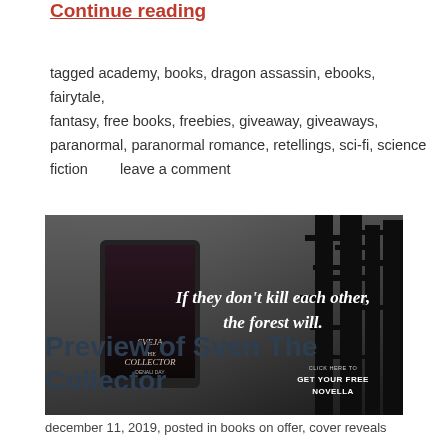Continue reading
tagged academy, books, dragon assassin, ebooks, fairytale, fantasy, free books, freebies, giveaway, giveaways, paranormal, paranormal romance, retellings, sci-fi, science fiction       leave a comment
[Figure (illustration): Book promotional banner for 'Sveja the Collector' by Denali Day. Dark atmospheric forest background with misty trees. Book cover shown on a tablet on the left. White text reads: 'If they don't kill each other, the forest will.' Bottom right has 'CLICK HERE TO GET YOUR FREE NOVELLA' in white text.]
Preview of Sven The Collector
december 11, 2019, posted in books on offer, cover reveals